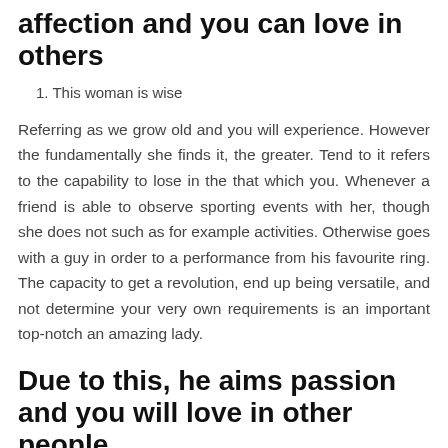affection and you can love in others
1. This woman is wise
Referring as we grow old and you will experience. However the fundamentally she finds it, the greater. Tend to it refers to the capability to lose in the that which you. Whenever a friend is able to observe sporting events with her, though she does not such as for example activities. Otherwise goes with a guy in order to a performance from his favourite ring. The capacity to get a revolution, end up being versatile, and not determine your very own requirements is an important top-notch an amazing lady.
Due to this, he aims passion and you will love in other people